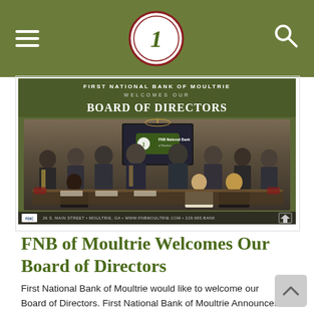FNB of Moultrie - Navigation header with hamburger menu, logo, and search icon
[Figure (photo): First National Bank of Moultrie Board of Directors group photo seated and standing around a conference table in a formal room with wooden paneling. Banner text reads: FIRST NATIONAL BANK OF MOULTRIE WELCOMES OUR BOARD OF DIRECTORS. Footer: 26 S. MAIN STREET • MOULTRIE, GA • WWW.FNBMOULTRIE.COM • 229.985.BANK]
FNB of Moultrie Welcomes Our Board of Directors
First National Bank of Moultrie would like to welcome our Board of Directors. First National Bank of Moultrie Announces Board of Directors Moultrie, Georgia, April 29, 2022 – First National Bank of Moultrie announces its Board